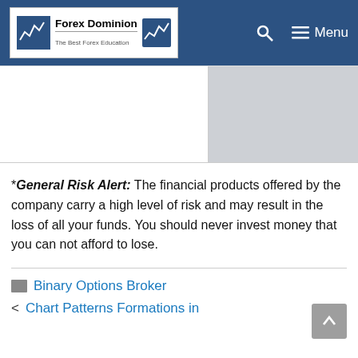Forex Dominion – The Best Forex Education
[Figure (screenshot): Two-column table/image area with white left column and grey right column, partially visible]
*General Risk Alert: The financial products offered by the company carry a high level of risk and may result in the loss of all your funds. You should never invest money that you can not afford to lose.
Binary Options Broker
< Chart Patterns Formations in